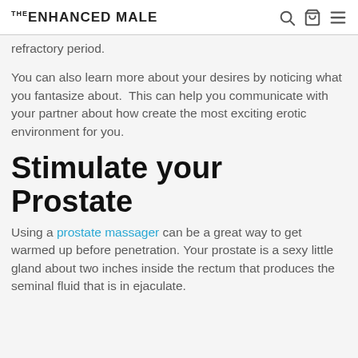THE ENHANCED MALE
refractory period.
You can also learn more about your desires by noticing what you fantasize about.  This can help you communicate with your partner about how create the most exciting erotic environment for you.
Stimulate your Prostate
Using a prostate massager can be a great way to get warmed up before penetration. Your prostate is a sexy little gland about two inches inside the rectum that produces the seminal fluid that is in ejaculate.